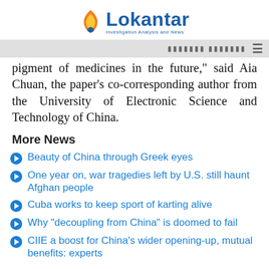Lokantar — Investigation Analysis and News
pigment of medicines in the future," said Aia Chuan, the paper’s co-corresponding author from the University of Electronic Science and Technology of China.
More News
Beauty of China through Greek eyes
One year on, war tragedies left by U.S. still haunt Afghan people
Cuba works to keep sport of karting alive
Why "decoupling from China" is doomed to fail
CIIE a boost for China's wider opening-up, mutual benefits: experts